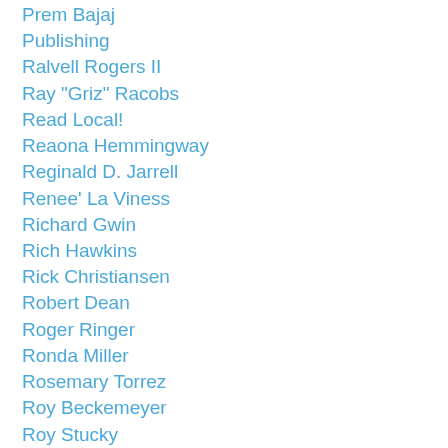Prem Bajaj
Publishing
Ralvell Rogers II
Ray "Griz" Racobs
Read Local!
Reaona Hemmingway
Reginald D. Jarrell
Renee' La Viness
Richard Gwin
Rich Hawkins
Rick Christiansen
Robert Dean
Roger Ringer
Ronda Miller
Rosemary Torrez
Roy Beckemeyer
Roy Stucky
Ruth Maus
Sally Jadlow
Sandee Taylor
Sara Neiswanger